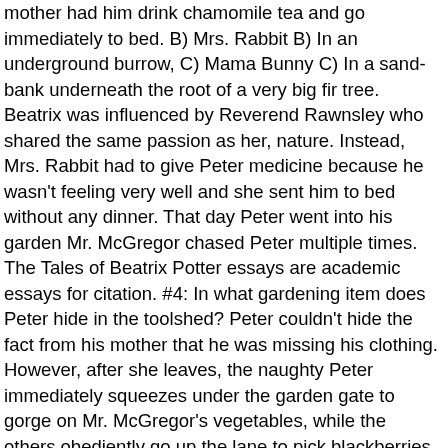mother had him drink chamomile tea and go immediately to bed. B) Mrs. Rabbit B) In an underground burrow, C) Mama Bunny C) In a sand-bank underneath the root of a very big fir tree. Beatrix was influenced by Reverend Rawnsley who shared the same passion as her, nature. Instead, Mrs. Rabbit had to give Peter medicine because he wasn't feeling very well and she sent him to bed without any dinner. That day Peter went into his garden Mr. McGregor chased Peter multiple times. The Tales of Beatrix Potter essays are academic essays for citation. #4: In what gardening item does Peter hide in the toolshed? Peter couldn't hide the fact from his mother that he was missing his clothing. However, after she leaves, the naughty Peter immediately squeezes under the garden gate to gorge on Mr. McGregor's vegetables, while the others obediently go up the lane to pick blackberries. Peter, a naughty rabbit, disobeys his mother's orders and runs straight for Mr. McGregor's garden. Peter on the other hand, had to go straight to bed after finishing his camomile tea (Martignoni 46-48). When Mr. McGregor finds him, Peter must get out of some sticky situations in order to escape and return home to his family. 21. The original version had 42 black-and-white illustrations and was printed in a small format, which she designed so that even very young children could hold the book. She